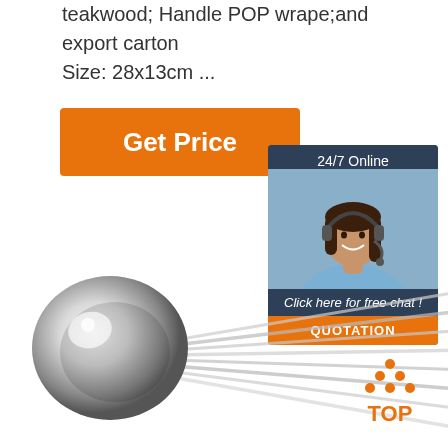teakwood; Handle POP wrape;and export carton Size: 28x13cm ...
[Figure (other): Orange 'Get Price' button]
[Figure (other): 24/7 Online chat widget with customer service representative photo, 'Click here for free chat!' text and orange QUOTATION button]
[Figure (photo): Stack of stainless steel spoons fanned out, showing multiple spoons with round bowls and long handles on white background]
[Figure (logo): TOP badge logo with orange dots forming a triangle above the word TOP]